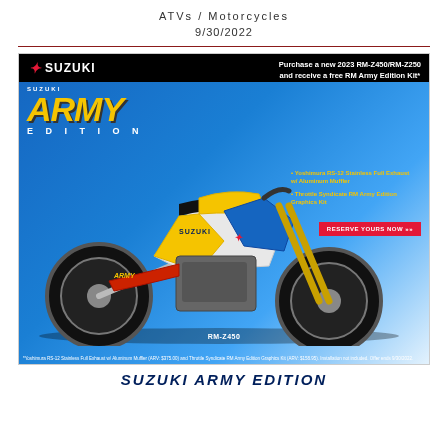ATVs / Motorcycles
9/30/2022
[Figure (illustration): Suzuki Army Edition promotional advertisement featuring a RM-Z450 motocross motorcycle in yellow/white/blue Army Edition livery. Text reads: 'Purchase a new 2023 RM-Z450/RM-Z250 and receive a free RM Army Edition Kit*'. Kit includes Yoshimura RS-12 Stainless Full Exhaust w/ Aluminum Muffler and Throttle Syndicate RM Army Edition Graphics Kit. Reserve Yours Now button shown. Disclaimer at bottom about ARV values and offer end date 9/30/2022.]
SUZUKI ARMY EDITION